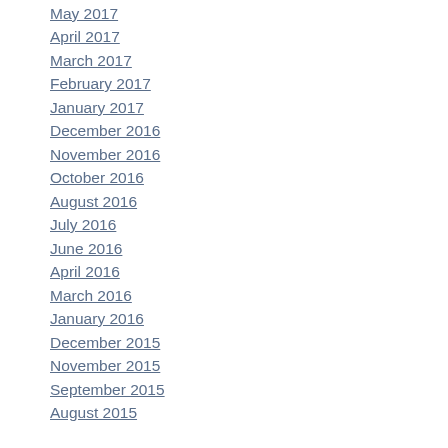July 2017
May 2017
April 2017
March 2017
February 2017
January 2017
December 2016
November 2016
October 2016
August 2016
July 2016
June 2016
April 2016
March 2016
January 2016
December 2015
November 2015
September 2015
August 2015